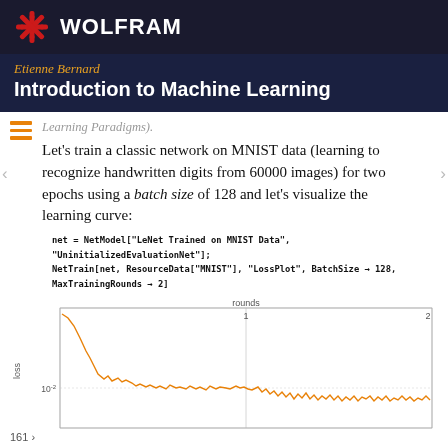WOLFRAM
Etienne Bernard
Introduction to Machine Learning
Learning Paradigms).
Let's train a classic network on MNIST data (learning to recognize handwritten digits from 60000 images) for two epochs using a batch size of 128 and let's visualize the learning curve:
net = NetModel["LeNet Trained on MNIST Data", "UninitializedEvaluationNet"];
NetTrain[net, ResourceData["MNIST"], "LossPlot", BatchSize → 128, MaxTrainingRounds → 2]
[Figure (continuous-plot): Learning curve plot showing loss vs rounds over 2 training rounds. The loss starts high and drops sharply in round 1, then flattens with noise around 10^-2 level through round 2. Y-axis label is 'loss', x-axis label is 'rounds'. The curve is orange on a white/light gray gridded background.]
161 ›